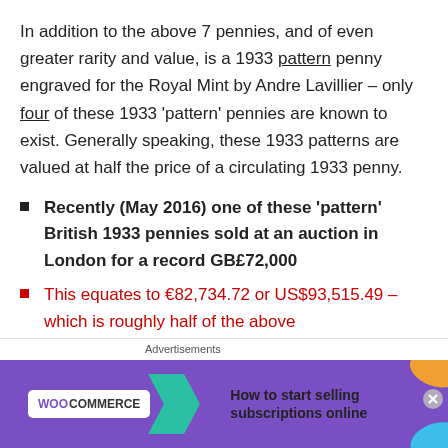In addition to the above 7 pennies, and of even greater rarity and value, is a 1933 pattern penny engraved for the Royal Mint by Andre Lavillier – only four of these 1933 'pattern' pennies are known to exist. Generally speaking, these 1933 patterns are valued at half the price of a circulating 1933 penny.
Recently (May 2016) one of these 'pattern' British 1933 pennies sold at an auction in London for a record GB£72,000
This equates to €82,734.72 or US$93,515.49 – which is roughly half of the above
A 'pattern' or 'trial' is a coin which has not been approved
[Figure (other): WooCommerce advertisement banner: purple background with WooCommerce logo and text 'How to start selling subscriptions online', with decorative leaf shapes]